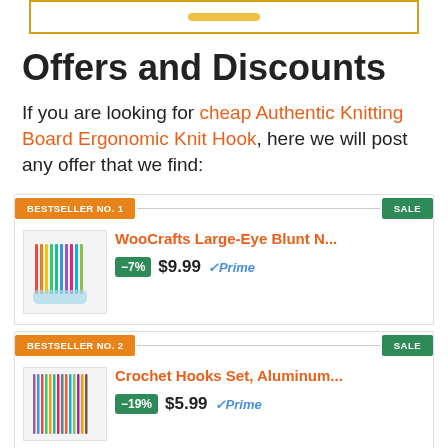[Figure (other): Top banner with yellow button (partial, cropped at top)]
Offers and Discounts
If you are looking for cheap Authentic Knitting Board Ergonomic Knit Hook, here we will post any offer that we find:
BESTSELLER NO. 1 | SALE | WooCrafts Large-Eye Blunt N... | -7% | $9.99 | Prime
BESTSELLER NO. 2 | SALE | Crochet Hooks Set, Aluminum... | -19% | $5.99 | Prime